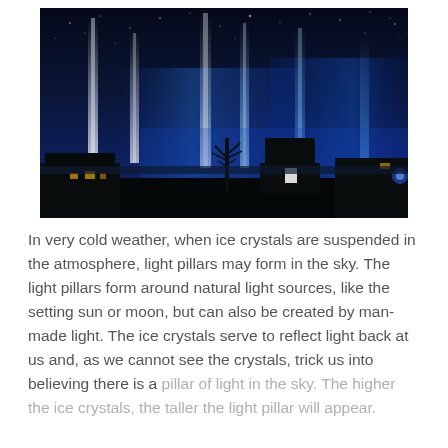[Figure (photo): Night sky photograph showing multiple light pillars rising vertically into a dark blue starry sky. The foreground shows dark silhouettes of buildings and bare trees. The light pillars appear as tall vertical columns of white, pale blue, and soft colored light extending from ground sources upward into the atmosphere.]
In very cold weather, when ice crystals are suspended in the atmosphere, light pillars may form in the sky. The light pillars form around natural light sources, like the setting sun or moon, but can also be created by man-made light. The ice crystals serve to reflect light back at us and, as we cannot see the crystals, trick us into believing there is a pillar of light in the sky. The higher the ice crystals, the taller the light pillar will appear.